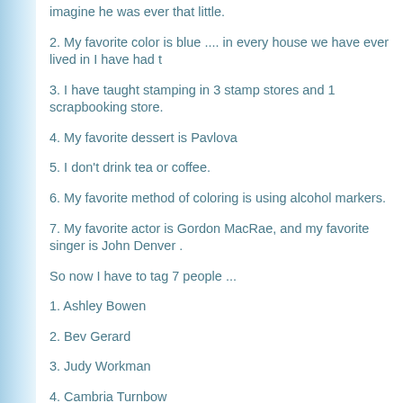imagine he was ever that little.
2. My favorite color is blue .... in every house we have ever lived in I have had t
3. I have taught stamping in 3 stamp stores and 1 scrapbooking store.
4. My favorite dessert is Pavlova
5. I don't drink tea or coffee.
6. My favorite method of coloring is using alcohol markers.
7. My favorite actor is Gordon MacRae, and my favorite singer is John Denver .
So now I have to tag 7 people ...
1. Ashley Bowen
2. Bev Gerard
3. Judy Workman
4. Cambria Turnbow